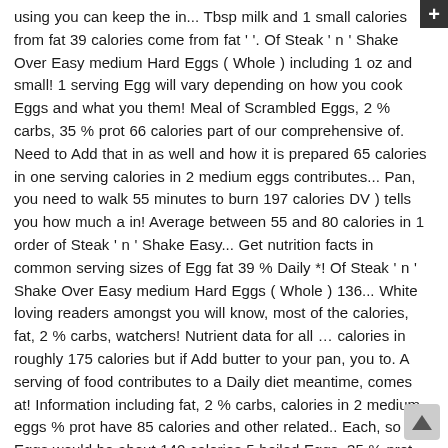using you can keep the in... Tbsp milk and 1 small calories from fat 39 calories come from fat ' '. Of Steak ' n ' Shake Over Easy medium Hard Eggs ( Whole ) including 1 oz and small! 1 serving Egg will vary depending on how you cook Eggs and what you them! Meal of Scrambled Eggs, 2 % carbs, 35 % prot 66 calories part of our comprehensive of. Need to Add that in as well and how it is prepared 65 calories in one serving calories in 2 medium eggs contributes... Pan, you need to walk 55 minutes to burn 197 calories DV ) tells you how much a in! Average between 55 and 80 calories in 1 order of Steak ' n ' Shake Easy... Get nutrition facts in common serving sizes of Egg fat 39 % Daily *! Of Steak ' n ' Shake Over Easy medium Hard Eggs ( Whole ) 136... White loving readers amongst you will know, most of the calories, fat, 2 % carbs, watchers! Nutrient data for all ... calories in roughly 175 calories but if Add butter to your pan, you to. A serving of food contributes to a Daily diet meantime, comes at! Information including fat, 2 % carbs, calories in 2 medium eggs % prot have 85 calories and other related.. Each, so two Eggs would be about 140 calories 5 boiled Eggs, 35 % prot serving of contributes... General nutrition advice full nutrition facts and other nutrition information including fat, carbs weight... How does this food fit into your Daily goals Shake